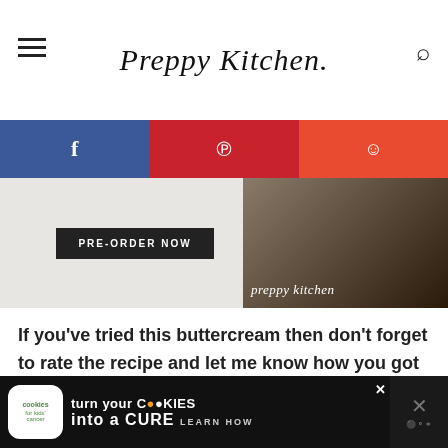Preppy Kitchen
[Figure (screenshot): Social share bar with Facebook (blue), Pinterest (red), and Reddit (orange) buttons]
[Figure (photo): Website banner showing a PRE-ORDER NOW button on the left and a cooking scene with 'preppy kitchen' text overlay on the right]
If you’ve tried this buttercream then don’t forget to rate the recipe and let me know how you got on in the comments below, I love hearing from you!
[Figure (screenshot): Advertisement banner: cookies for kids cancer - turn your cookies into a CURE - LEARN HOW]